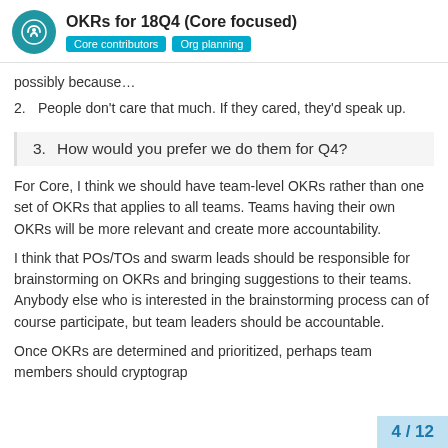OKRs for 18Q4 (Core focused) — Core contributors, Org planning
possibly because…
2. People don't care that much. If they cared, they'd speak up.
3. How would you prefer we do them for Q4?
For Core, I think we should have team-level OKRs rather than one set of OKRs that applies to all teams. Teams having their own OKRs will be more relevant and create more accountability.
I think that POs/TOs and swarm leads should be responsible for brainstorming on OKRs and bringing suggestions to their teams. Anybody else who is interested in the brainstorming process can of course participate, but team leaders should be accountable.
Once OKRs are determined and prioritized, perhaps team members should cryptograp
4 / 12